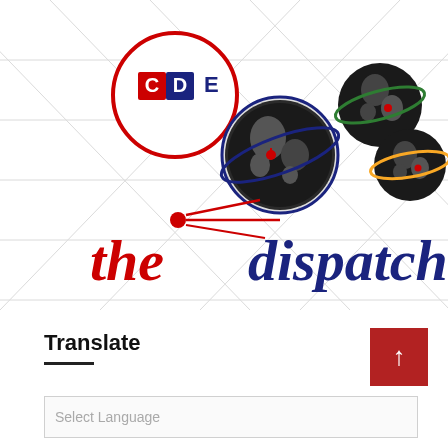[Figure (logo): CDE The Dispatch logo with globe graphics on a globe grid background. Features 'CDE' text in red/blue boxes inside a red circle, three globe icons with colored rings, a red starburst/rays graphic, and 'the dispatch' text in red and dark navy blue.]
Translate
Select Language